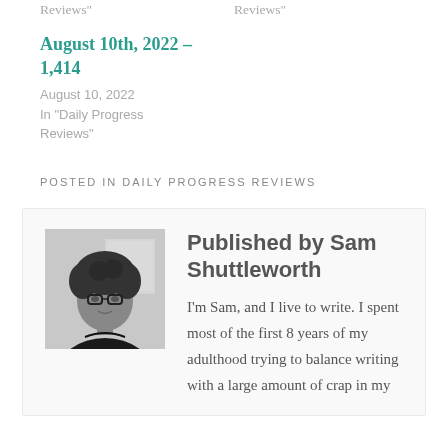Reviews"
Reviews"
August 10th, 2022 – 1,414
August 10, 2022
In "Daily Progress Reviews"
POSTED IN DAILY PROGRESS REVIEWS
[Figure (photo): Black and white photo of Sam Shuttleworth, a person with curly hair and glasses]
Published by Sam Shuttleworth
I'm Sam, and I live to write. I spent most of the first 8 years of my adulthood trying to balance writing with a large amount of crap in my